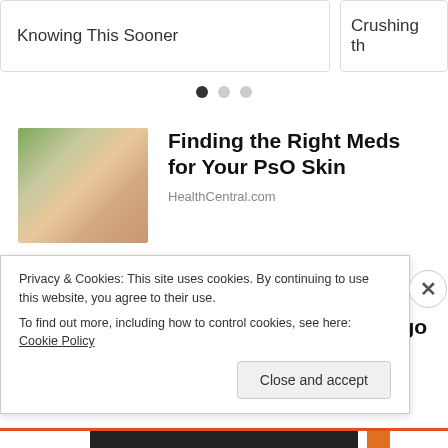Knowing This Sooner
Crushing th
[Figure (other): Pagination dots: three circles, first filled black, second and third grey]
[Figure (photo): Close-up photo of a hand receiving a pill or capsule being dropped into it, with green blurred background]
Finding the Right Meds for Your PsO Skin
HealthCentral.com
[Figure (photo): Photo of an elderly man with white curly hair wearing a large dark cowboy hat]
Almost Nobody Has Passed This Classic Logo Quiz
WarpedSpeed
Privacy & Cookies: This site uses cookies. By continuing to use this website, you agree to their use.
To find out more, including how to control cookies, see here: Cookie Policy
Close and accept